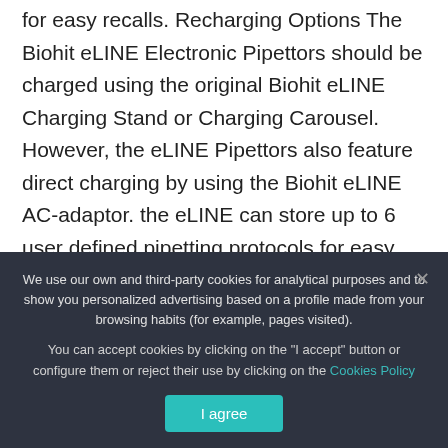for easy recalls. Recharging Options The Biohit eLINE Electronic Pipettors should be charged using the original Biohit eLINE Charging Stand or Charging Carousel. However, the eLINE Pipettors also feature direct charging by using the Biohit eLINE AC-adaptor. the eLINE can store up to 6 user defined pipetting protocols for easy recalls. Recharging Options The Biohit eLINE Electronic Pipettors should be charged using the original Biohit eLINE Charging Stand or Charging Carousel. However, the eLINE Pipettors also feature direct charging by using the Biohit eLINE AC-adaptor
We use our own and third-party cookies for analytical purposes and to show you personalized advertising based on a profile made from your browsing habits (for example, pages visited).
You can accept cookies by clicking on the "I accept" button or configure them or reject their use by clicking on the Cookies Policy